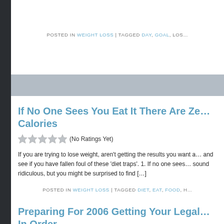POSTED IN WEIGHT LOSS | TAGGED DAY, GOAL, LOS…
If No One Sees You Eat It There Are Ze… Calories
(No Ratings Yet)
If you are trying to lose weight, aren't getting the results you want a… and see if you have fallen foul of these 'diet traps'. 1. If no one sees… sound ridiculous, but you might be surprised to find […]
POSTED IN WEIGHT LOSS | TAGGED DIET, EAT, FOOD, H…
Preparing For 2006 Getting Your Legal… In Order
(No Ratings Yet)